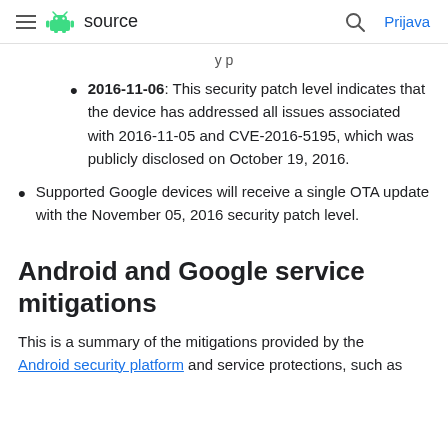≡ Android source  🔍 Prijava
y p
2016-11-06: This security patch level indicates that the device has addressed all issues associated with 2016-11-05 and CVE-2016-5195, which was publicly disclosed on October 19, 2016.
Supported Google devices will receive a single OTA update with the November 05, 2016 security patch level.
Android and Google service mitigations
This is a summary of the mitigations provided by the Android security platform and service protections, such as